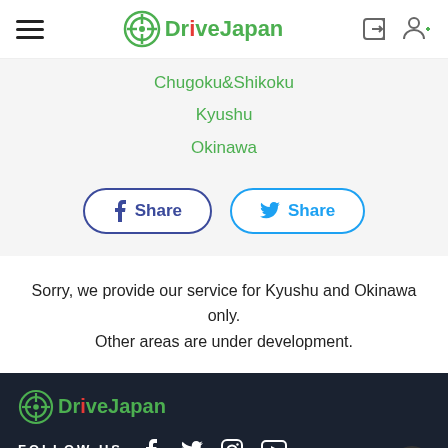DriveJapan navigation header with hamburger menu, logo, login and register icons
Chugoku&Shikoku
Kyushu
Okinawa
[Figure (screenshot): Facebook Share button and Twitter Share button]
Sorry, we provide our service for Kyushu and Okinawa only. Other areas are under development.
DriveJapan footer with logo, FOLLOW US with Facebook, Twitter, Instagram, YouTube icons, and Home link